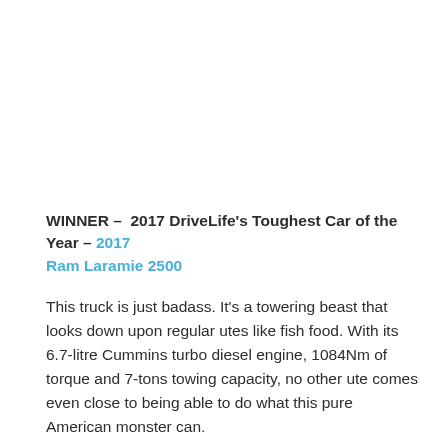WINNER – 2017 DriveLife's Toughest Car of the Year – 2017 Ram Laramie 2500
This truck is just badass. It's a towering beast that looks down upon regular utes like fish food. With its 6.7-litre Cummins turbo diesel engine, 1084Nm of torque and 7-tons towing capacity, no other ute comes even close to being able to do what this pure American monster can.
RUNNER UP – 2017 Toyota Land Cruiser 70